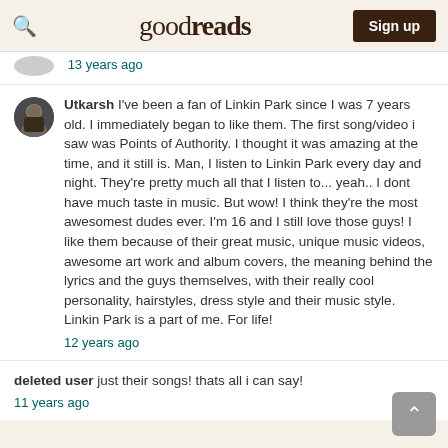goodreads | Sign up
13 years ago
Utkarsh I've been a fan of Linkin Park since I was 7 years old. I immediately began to like them. The first song/video i saw was Points of Authority. I thought it was amazing at the time, and it still is. Man, I listen to Linkin Park every day and night. They're pretty much all that I listen to... yeah.. I dont have much taste in music. But wow! I think they're the most awesomest dudes ever. I'm 16 and I still love those guys! I like them because of their great music, unique music videos, awesome art work and album covers, the meaning behind the lyrics and the guys themselves, with their really cool personality, hairstyles, dress style and their music style. Linkin Park is a part of me. For life!
12 years ago
deleted user just their songs! thats all i can say!
11 years ago